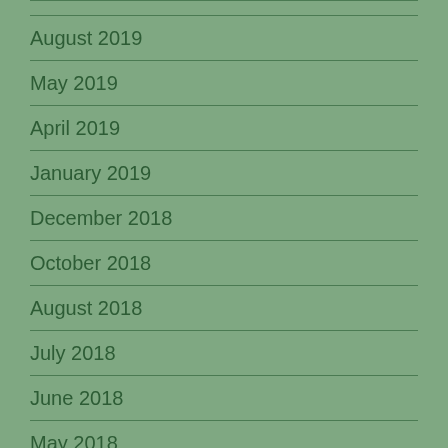August 2019
May 2019
April 2019
January 2019
December 2018
October 2018
August 2018
July 2018
June 2018
May 2018
April 2018